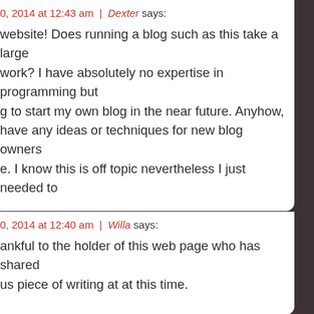0, 2014 at 12:43 am  |  Dexter says: website! Does running a blog such as this take a large work? I have absolutely no expertise in programming but g to start my own blog in the near future. Anyhow, have any ideas or techniques for new blog owners e. I know this is off topic nevertheless I just needed to
0, 2014 at 12:40 am  |  Willa says: ankful to the holder of this web page who has shared us piece of writing at at this time.